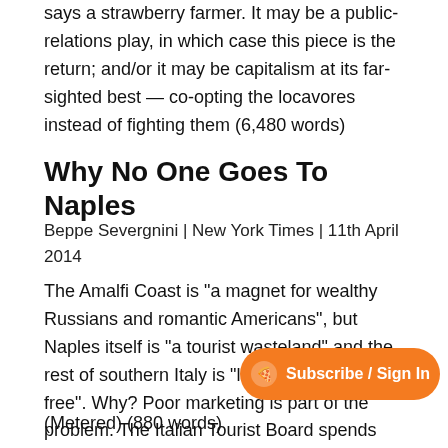says a strawberry farmer. It may be a public-relations play, in which case this piece is the return; and/or it may be capitalism at its far-sighted best — co-opting the locavores instead of fighting them (6,480 words)
Why No One Goes To Naples
Beppe Severgnini | New York Times | 11th April 2014
The Amalfi Coast is "a magnet for wealthy Russians and romantic Americans", but Naples itself is "a tourist wasteland" and the rest of southern Italy is "largely vacationer-free". Why? Poor marketing is part of the problem. The Italian Tourist Board spends 98% of its budget on salaries, leaving "basically nothing" for tourism promotion. "Across [something] g from being a given to being [something] (Metered) (880 words)
[Figure (other): Orange pill-shaped Subscribe / Sign In button with a pizza delivery icon on the left side]